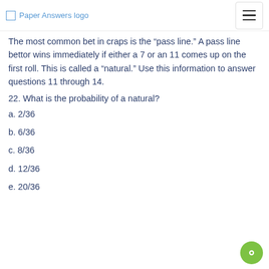Paper Answers logo
The most common bet in craps is the "pass line." A pass line bettor wins immediately if either a 7 or an 11 comes up on the first roll. This is called a “natural.” Use this information to answer questions 11 through 14.
22. What is the probability of a natural?
a. 2/36
b. 6/36
c. 8/36
d. 12/36
e. 20/36